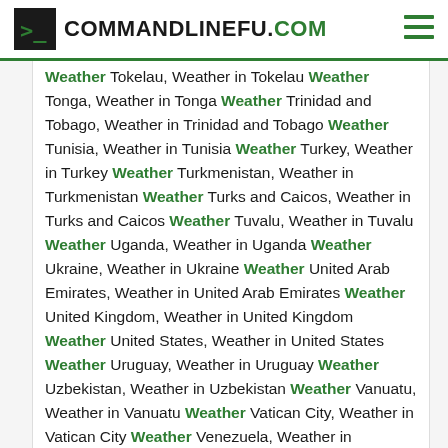COMMANDLINEFU.COM
Weather Tokelau, Weather in Tokelau Weather Tonga, Weather in Tonga Weather Trinidad and Tobago, Weather in Trinidad and Tobago Weather Tunisia, Weather in Tunisia Weather Turkey, Weather in Turkey Weather Turkmenistan, Weather in Turkmenistan Weather Turks and Caicos, Weather in Turks and Caicos Weather Tuvalu, Weather in Tuvalu Weather Uganda, Weather in Uganda Weather Ukraine, Weather in Ukraine Weather United Arab Emirates, Weather in United Arab Emirates Weather United Kingdom, Weather in United Kingdom Weather United States, Weather in United States Weather Uruguay, Weather in Uruguay Weather Uzbekistan, Weather in Uzbekistan Weather Vanuatu, Weather in Vanuatu Weather Vatican City, Weather in Vatican City Weather Venezuela, Weather in Venezuela Weather Vietnam, Weather in Vietnam Weather Virgin Islands, British, Weather in Virgin Islands, British Weather...